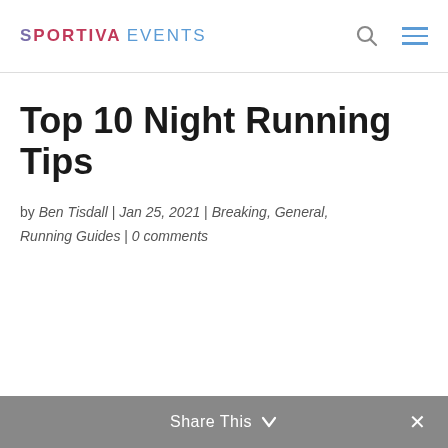SPORTIVA EVENTS
Top 10 Night Running Tips
by Ben Tisdall | Jan 25, 2021 | Breaking, General, Running Guides | 0 comments
Share This